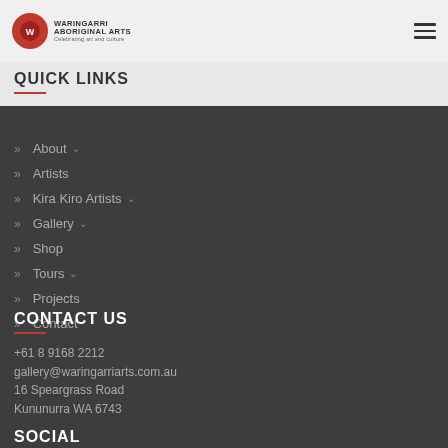Waringarri Aboriginal Arts — Celebrating art and culture
QUICK LINKS
About
Artists
Kira Kiro Artists
Gallery
Shop
Tours
Projects
Contact
CONTACT US
+61 8 9168 2212
gallery@waringarriarts.com.au
16 Speargrass Road
Kununurra WA 6743
SOCIAL